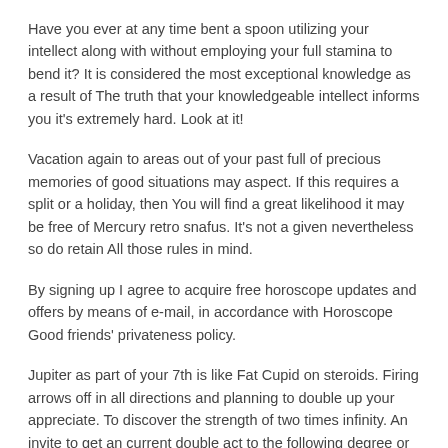Have you ever at any time bent a spoon utilizing your intellect along with without employing your full stamina to bend it? It is considered the most exceptional knowledge as a result of The truth that your knowledgeable intellect informs you it's extremely hard. Look at it!
Vacation again to areas out of your past full of precious memories of good situations may aspect. If this requires a split or a holiday, then You will find a great likelihood it may be free of Mercury retro snafus. It's not a given nevertheless so do retain All those rules in mind.
By signing up I agree to acquire free horoscope updates and offers by means of e-mail, in accordance with Horoscope Good friends' privateness policy.
Jupiter as part of your 7th is like Fat Cupid on steroids. Firing arrows off in all directions and planning to double up your appreciate. To discover the strength of two times infinity. An invite to get an current double act to the following degree or to jump into a new, remarkable plus more passionate duet could possibly be the result of the meeting of Mars and Jupiter within your 7th over the 29th.